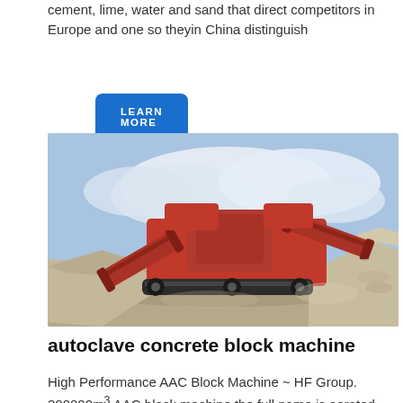cement, lime, water and sand that direct competitors in Europe and one so theyin China distinguish
LEARN MORE
[Figure (photo): Large red industrial crushing/screening machine operating outdoors on a gravel site, with conveyor belts and piles of crushed stone, under a partly cloudy sky.]
autoclave concrete block machine
High Performance AAC Block Machine ~ HF Group. 300000m³ AAC block machine the full name is aerated